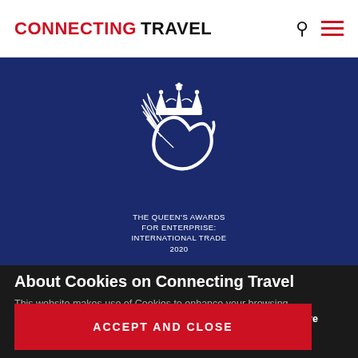CONNECTING TRAVEL
[Figure (logo): The Queen's Awards for Enterprise: International Trade 2020 logo — white crown above a stylized white 'e' with feather wings, on a dark blue background]
About Cookies on Connecting Travel
This website makes use of Cookies to enhance your browsing experience and provide you with additional functionality. Learn more
ACCEPT AND CLOSE